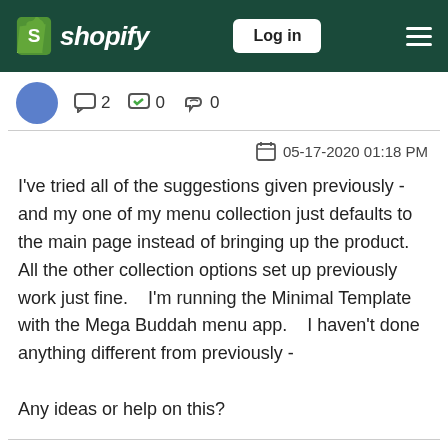shopify — Log in
[Figure (screenshot): User avatar circle (blue), stats bar showing 2 replies, 0 accepted, 0 likes]
05-17-2020 01:18 PM
I've tried all of the suggestions given previously - and my one of my menu collection just defaults to the main page instead of bringing up the product. All the other collection options set up previously work just fine.    I'm running the Minimal Template with the Mega Buddah menu app.    I haven't done anything different from previously -

Any ideas or help on this?